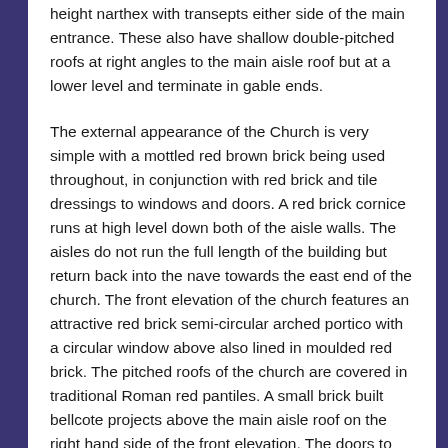height narthex with transepts either side of the main entrance. These also have shallow double-pitched roofs at right angles to the main aisle roof but at a lower level and terminate in gable ends.
The external appearance of the Church is very simple with a mottled red brown brick being used throughout, in conjunction with red brick and tile dressings to windows and doors. A red brick cornice runs at high level down both of the aisle walls. The aisles do not run the full length of the building but return back into the nave towards the east end of the church. The front elevation of the church features an attractive red brick semi-circular arched portico with a circular window above also lined in moulded red brick. The pitched roofs of the church are covered in traditional Roman red pantiles. A small brick built bellcote projects above the main aisle roof on the right hand side of the front elevation. The doors to the church are in plain oak with vertical tongued and grooved boarding and wrought iron strap